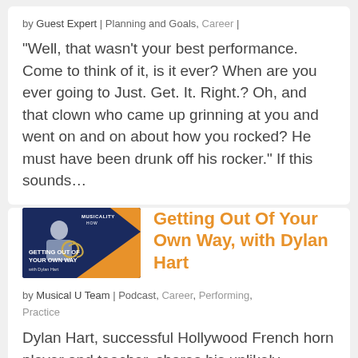by Guest Expert | Planning and Goals, Career |
“Well, that wasn’t your best performance. Come to think of it, is it ever? When are you ever going to Just. Get. It. Right.? Oh, and that clown who came up grinning at you and went on and on about how you rocked? He must have been drunk off his rocker.” If this sounds…
[Figure (photo): Thumbnail image for 'Getting Out Of Your Own Way, with Dylan Hart' podcast episode. Shows a person holding a French horn on a dark blue and orange background with text 'Musicality Now', 'Getting Out Of Your Own Way', 'with Dylan Hart'.]
Getting Out Of Your Own Way, with Dylan Hart
by Musical U Team | Podcast, Career, Performing, Practice
Dylan Hart, successful Hollywood French horn player and teacher, shares his unlikely